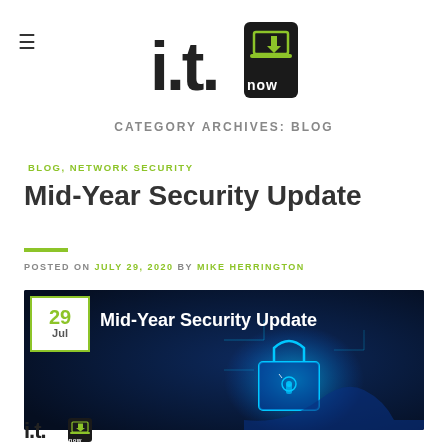[Figure (logo): i.t. now logo with stylized laptop and download arrow icon, black and green]
CATEGORY ARCHIVES: BLOG
BLOG, NETWORK SECURITY
Mid-Year Security Update
POSTED ON JULY 29, 2020 BY MIKE HERRINGTON
[Figure (illustration): Dark blue banner image showing '29 Jul' date box with green border, white text 'Mid-Year Security Update', and a glowing cyan digital padlock illustration with circuit patterns]